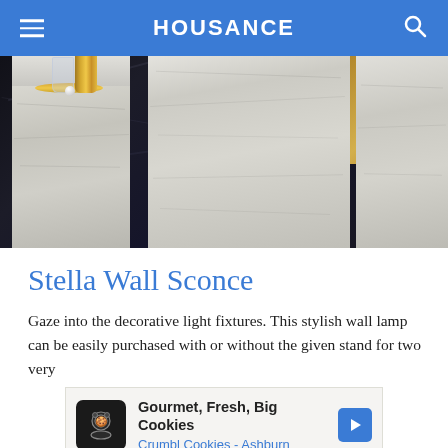HOUSANCE
[Figure (photo): Interior design photo showing marble pedestals with gold accessories including a cocktail shaker, glass, tray, and a small lamp with globe bulb against a dark marble wall]
Stella Wall Sconce
Gaze into the decorative light fixtures. This stylish wall lamp can be easily purchased with or without the given stand for two very
[Figure (other): Advertisement banner for Crumbl Cookies - Ashburn: Gourmet, Fresh, Big Cookies]